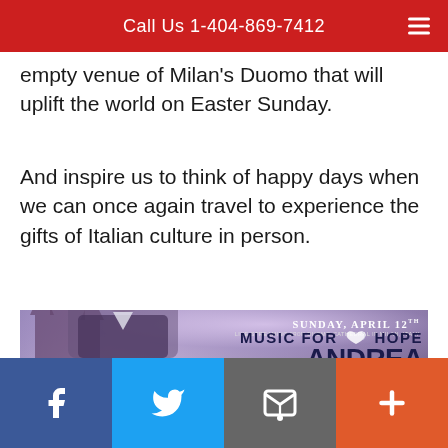Call Us 1-404-869-7412
empty venue of Milan's Duomo that will uplift the world on Easter Sunday.
And inspire us to think of happy days when we can once again travel to experience the gifts of Italian culture in person.
[Figure (photo): Andrea Bocelli Music for Hope concert promotional image. Text reads: SUNDAY, APRIL 12th, LIVE STREAMING from DUOMO CATHEDRAL in MILAN, ITALY, ANDREA BOCELLI, MUSIC FOR HOPE. Background shows cathedral silhouette and man's profile.]
Facebook | Twitter | Email | More